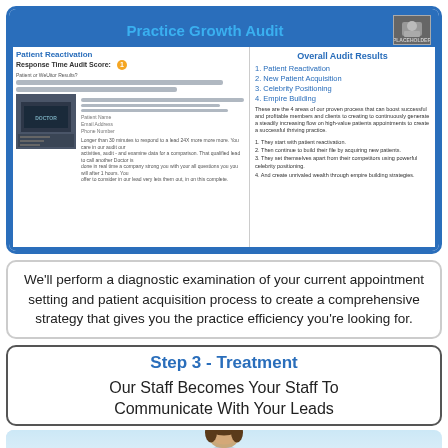[Figure (screenshot): Screenshot of Practice Growth Audit showing Patient Reactivation Response Time Audit Score on the left panel and Overall Audit Results (1. Patient Reactivation, 2. New Patient Acquisition, 3. Celebrity Positioning, 4. Empire Building) on the right panel, with a video thumbnail in the top right corner.]
We'll perform a diagnostic examination of your current appointment setting and patient acquisition process to create a comprehensive strategy that gives you the practice efficiency you're looking for.
Step 3 - Treatment
Our Staff Becomes Your Staff To Communicate With Your Leads
[Figure (photo): Photo of a person (appears to be a woman) at the bottom of the page, partially visible]